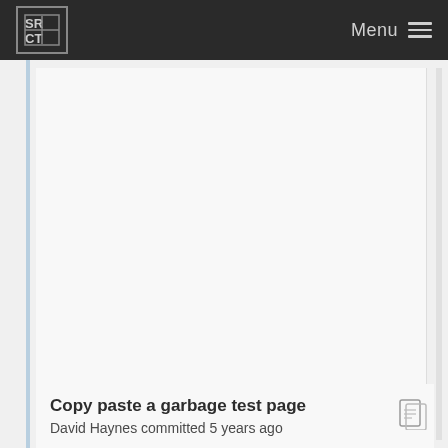SRCT | Menu
Copy paste a garbage test page
David Haynes committed 5 years ago